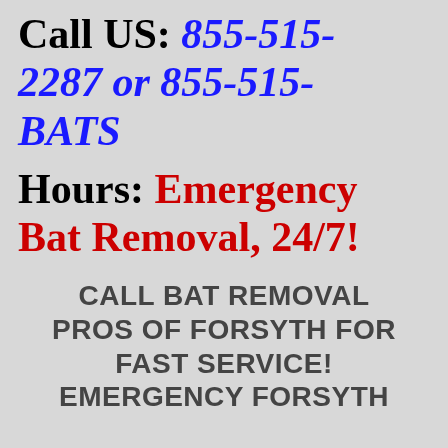Call US: 855-515-2287 or 855-515-BATS
Hours: Emergency Bat Removal, 24/7!
CALL BAT REMOVAL PROS OF FORSYTH FOR FAST SERVICE! EMERGENCY FORSYTH